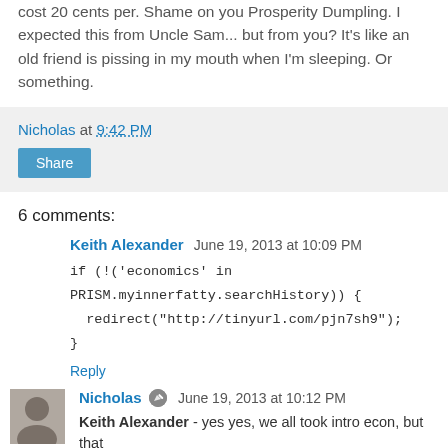cost 20 cents per. Shame on you Prosperity Dumpling. I expected this from Uncle Sam... but from you? It's like an old friend is pissing in my mouth when I'm sleeping. Or something.
Nicholas at 9:42 PM
Share
6 comments:
Keith Alexander June 19, 2013 at 10:09 PM
if (!('economics' in PRISM.myinnerfatty.searchHistory)) {
  redirect("http://tinyurl.com/pjn7sh9");
}
Reply
Nicholas June 19, 2013 at 10:12 PM
Keith Alexander - yes yes, we all took intro econ, but that